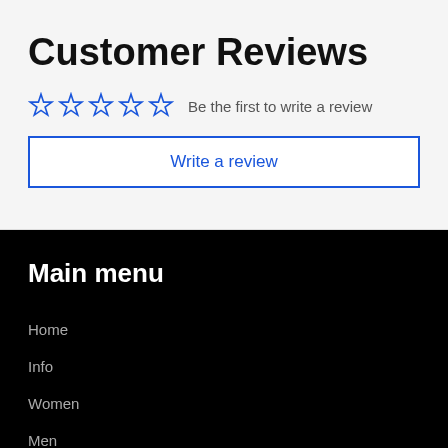Customer Reviews
☆☆☆☆☆  Be the first to write a review
Write a review
Main menu
Home
Info
Women
Men
Couple & family